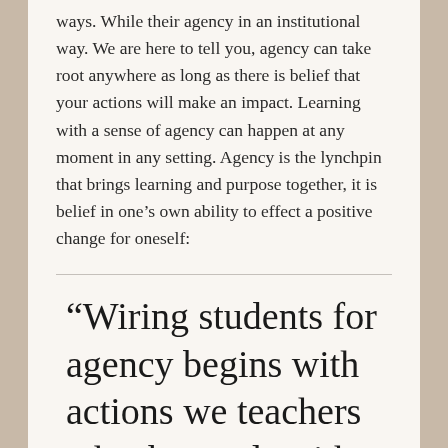ways. While their agency in an institutional way. We are here to tell you, agency can take root anywhere as long as there is belief that your actions will make an impact. Learning with a sense of agency can happen at any moment in any setting. Agency is the lynchpin that brings learning and purpose together, it is belief in one's own ability to effect a positive change for oneself:
“Wiring students for agency begins with actions we teachers take, but ends with students generating